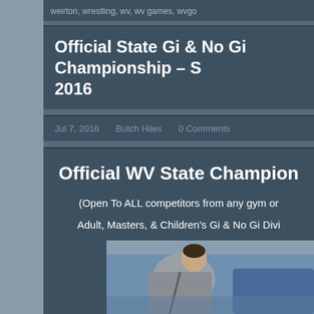weirton, wrestling, wv, wv games, wvgo
Official State Gi & No Gi Championship – S... 2016
Jul 7, 2016   Butch Hiles   0 Comments
Official WV State Champion...
(Open To ALL competitors from any gym or ...
Adult, Masters, & Children's Gi & No Gi Divi...
[Figure (photo): Two competitors in a Brazilian jiu-jitsu or wrestling match on a blue mat, one in a gray gi and one in a blue gi.]